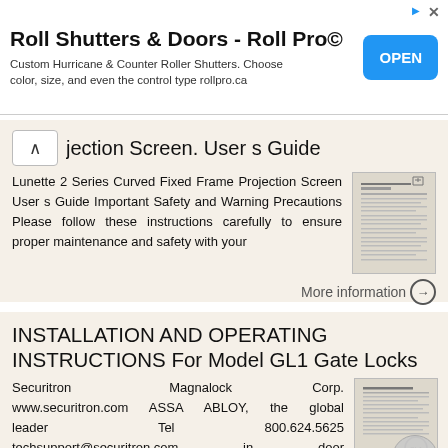[Figure (screenshot): Advertisement banner for Roll Pro — Roll Shutters & Doors with an OPEN button]
jection Screen. User s Guide
Lunette 2 Series Curved Fixed Frame Projection Screen User s Guide Important Safety and Warning Precautions Please follow these instructions carefully to ensure proper maintenance and safety with your
[Figure (screenshot): Thumbnail image of Lunette 2 Series Curved Fixed Frame Projection Screen User s Guide document]
More information →
INSTALLATION AND OPERATING INSTRUCTIONS For Model GL1 Gate Locks
Securitron Magnalock Corp. www.securitron.com ASSA ABLOY, the global leader Tel 800.624.5625 techsupport@securitron.com in door opening solutions INSTALLATION AND OPERATING
[Figure (screenshot): Thumbnail image of Securitron GL1 Gate Locks installation and operating instructions document]